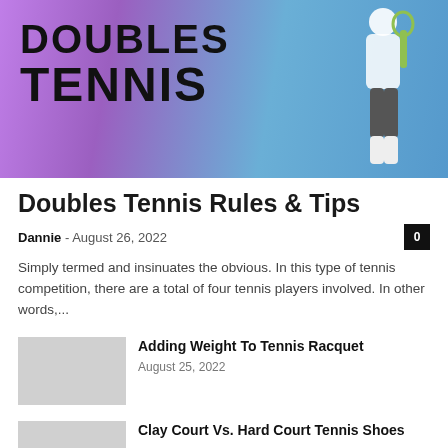[Figure (photo): Hero image for Doubles Tennis article showing text 'DOUBLES TENNIS' in large bold black letters over a purple/blue tennis court background with a player silhouette on the right]
Doubles Tennis Rules & Tips
Dannie – August 26, 2022
Simply termed and insinuates the obvious. In this type of tennis competition, there are a total of four tennis players involved. In other words,...
Adding Weight To Tennis Racquet
August 25, 2022
Clay Court Vs. Hard Court Tennis Shoes